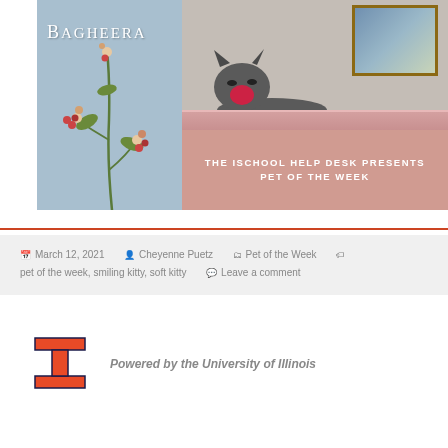[Figure (photo): Promotional banner for 'Pet of the Week' featuring the name 'Bagheera' on a blue panel with floral illustration on the left, and a photo of a yawning/roaring grey cat lying on a pink mattress with a framed painting of Notre Dame on the wall behind. A pink overlaid banner reads 'THE ISCHOOL HELP DESK PRESENTS PET OF THE WEEK'.]
March 12, 2021  Cheyenne Puetz  Pet of the Week  pet of the week, smiling kitty, soft kitty  Leave a comment
[Figure (logo): University of Illinois block I logo in orange with dark navy/dark outline]
Powered by the University of Illinois